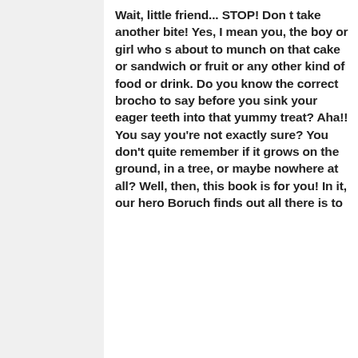Wait, little friend... STOP! Don t take another bite! Yes, I mean you, the boy or girl who s about to munch on that cake or sandwich or fruit or any other kind of food or drink. Do you know the correct brocho to say before you sink your eager teeth into that yummy treat? Aha!! You say you're not exactly sure? You don't quite remember if it grows on the ground, in a tree, or maybe nowhere at all? Well, then, this book is for you! In it, our hero Boruch finds out all there is to